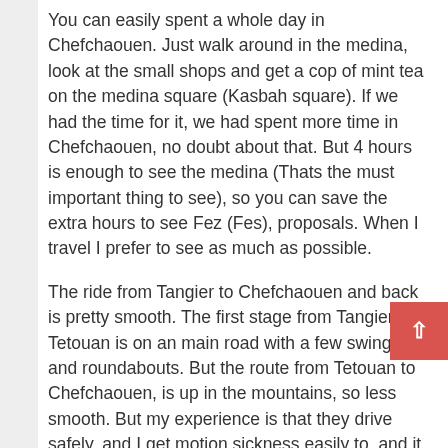You can easily spent a whole day in Chefchaouen. Just walk around in the medina, look at the small shops and get a cop of mint tea on the medina square (Kasbah square). If we had the time for it, we had spent more time in Chefchaouen, no doubt about that. But 4 hours is enough to see the medina (Thats the must important thing to see), so you can save the extra hours to see Fez (Fes), proposals. When I travel I prefer to see as much as possible.
The ride from Tangier to Chefchaouen and back is pretty smooth. The first stage from Tangier to Tetouan is on an main road with a few swings and roundabouts. But the route from Tetouan to Chefchaouen, is up in the mountains, so less smooth. But my experience is that they drive safely, and I get motion sickness easily to, and it was not a